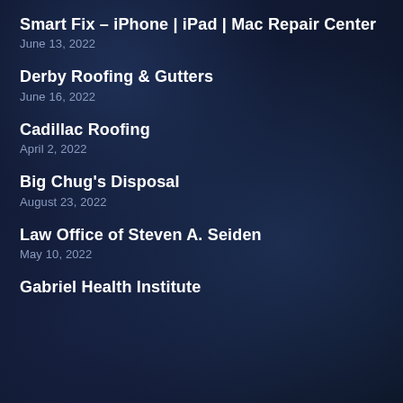Smart Fix – iPhone | iPad | Mac Repair Center
June 13, 2022
Derby Roofing & Gutters
June 16, 2022
Cadillac Roofing
April 2, 2022
Big Chug's Disposal
August 23, 2022
Law Office of Steven A. Seiden
May 10, 2022
Gabriel Health Institute